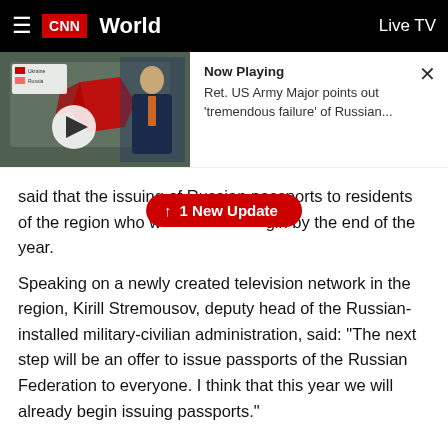CNN World  Live TV
[Figure (screenshot): CNN video thumbnail showing a man in a suit in front of a map with red highlighted region]
Now Playing
Ret. US Army Major points out 'tremendous failure' of Russian...
1 New Update
said that the issuing of Russian passports to residents of the region who w[ould] begin by the end of the year.
Speaking on a newly created television network in the region, Kirill Stremousov, deputy head of the Russian-installed military-civilian administration, said: "The next step will be an offer to issue passports of the Russian Federation to everyone. I think that this year we will already begin issuing passports."
He said it would not be obligatory for residents of the region to hold a Russian passport...